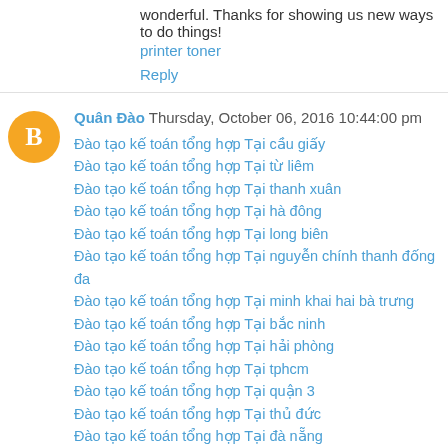wonderful. Thanks for showing us new ways to do things!
printer toner
Reply
Quân Đào  Thursday, October 06, 2016 10:44:00 pm
Đào tạo kế toán tổng hợp Tại cầu giấy
Đào tạo kế toán tổng hợp Tại từ liêm
Đào tạo kế toán tổng hợp Tại thanh xuân
Đào tạo kế toán tổng hợp Tại hà đông
Đào tạo kế toán tổng hợp Tại long biên
Đào tạo kế toán tổng hợp Tại nguyễn chính thanh đống đa
Đào tạo kế toán tổng hợp Tại minh khai hai bà trưng
Đào tạo kế toán tổng hợp Tại bắc ninh
Đào tạo kế toán tổng hợp Tại hải phòng
Đào tạo kế toán tổng hợp Tại tphcm
Đào tạo kế toán tổng hợp Tại quận 3
Đào tạo kế toán tổng hợp Tại thủ đức
Đào tạo kế toán tổng hợp Tại đà nẵng
Đào tạo kế toán tổng hợp Tại biên hòa
Đào tạo kế toán tổng hợp Tại đồng nai
Đào tạo kế toán tổng hợp Tại nam định